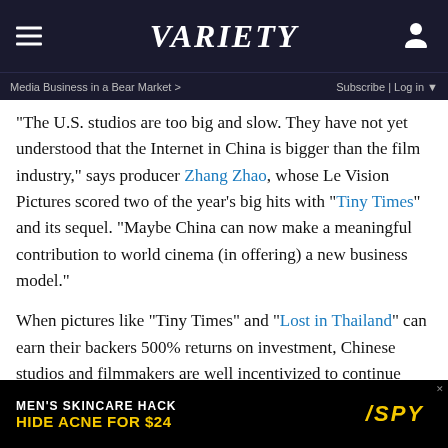VARIETY
Media Business in a Bear Market >   Subscribe | Log in
“The U.S. studios are too big and slow. They have not yet understood that the Internet in China is bigger than the film industry,” says producer Zhang Zhao, whose Le Vision Pictures scored two of the year’s big hits with “Tiny Times” and its sequel. “Maybe China can now make a meaningful contribution to world cinema (in offering) a new business model.”
When pictures like “Tiny Times” and “Lost in Thailand” can earn their backers 500% returns on investment, Chinese studios and filmmakers are well incentivized to continue their focus on their domestic market.
And foreign backers are perhaps well advised to join them
[Figure (screenshot): Advertisement banner: MEN’S SKINCARE HACK / HIDE ACNE FOR $24 with SPY logo]